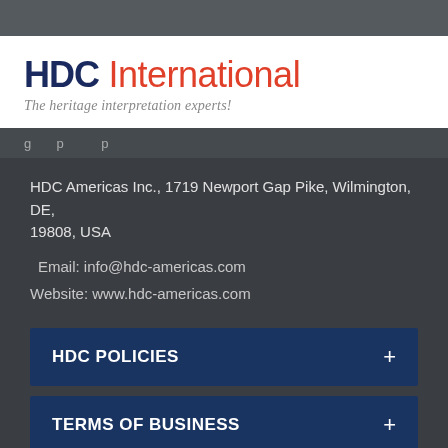[Figure (logo): HDC International logo with tagline 'The heritage interpretation experts!']
HDC Americas Inc., 1719 Newport Gap Pike, Wilmington, DE, 19808, USA
Email: info@hdc-americas.com
Website: www.hdc-americas.com
HDC POLICIES
TERMS OF BUSINESS